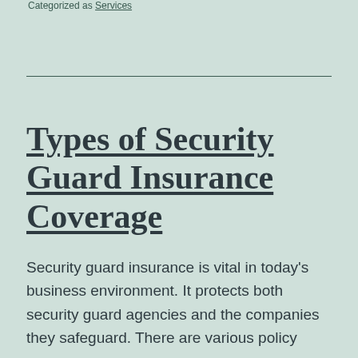Categorized as Services
Types of Security Guard Insurance Coverage
Security guard insurance is vital in today's business environment. It protects both security guard agencies and the companies they safeguard. There are various policy